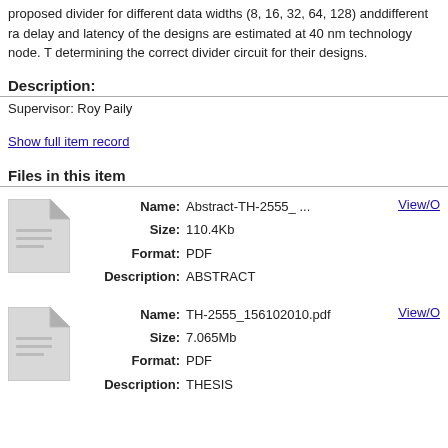proposed divider for different data widths (8, 16, 32, 64, 128) anddifferent ra delay and latency of the designs are estimated at 40 nm technology node. determining the correct divider circuit for their designs.
Description:
Supervisor: Roy Paily
Show full item record
Files in this item
[Figure (illustration): Generic document/file icon (grey folded-corner page)]
Name: Abstract-TH-2555_ ...
Size: 110.4Kb
Format: PDF
Description: ABSTRACT
View/O
[Figure (illustration): Generic document/file icon (grey folded-corner page)]
Name: TH-2555_156102010.pdf
Size: 7.065Mb
Format: PDF
Description: THESIS
View/O